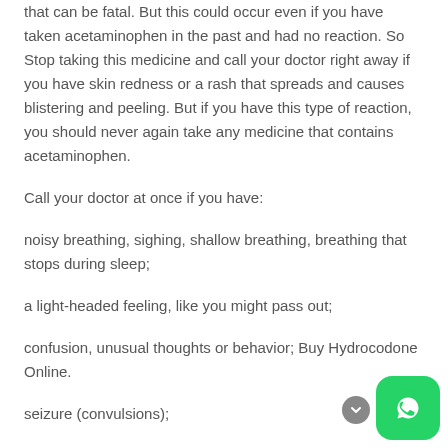that can be fatal. But this could occur even if you have taken acetaminophen in the past and had no reaction. So Stop taking this medicine and call your doctor right away if you have skin redness or a rash that spreads and causes blistering and peeling. But if you have this type of reaction, you should never again take any medicine that contains acetaminophen.
Call your doctor at once if you have:
noisy breathing, sighing, shallow breathing, breathing that stops during sleep;
a light-headed feeling, like you might pass out;
confusion, unusual thoughts or behavior; Buy Hydrocodone Online.
seizure (convulsions);